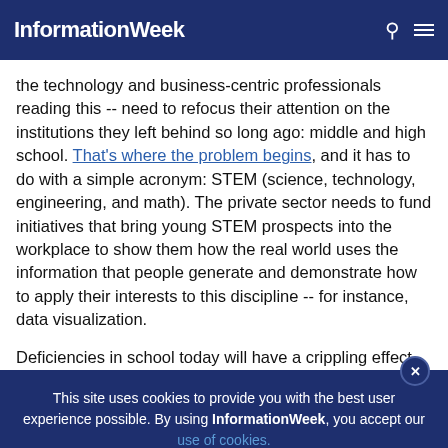InformationWeek
the technology and business-centric professionals reading this -- need to refocus their attention on the institutions they left behind so long ago: middle and high school. That's where the problem begins, and it has to do with a simple acronym: STEM (science, technology, engineering, and math). The private sector needs to fund initiatives that bring young STEM prospects into the workplace to show them how the real world uses the information that people generate and demonstrate how to apply their interests to this discipline -- for instance, data visualization.
Deficiencies in school today will have a crippling effect on the
This site uses cookies to provide you with the best user experience possible. By using InformationWeek, you accept our use of cookies.